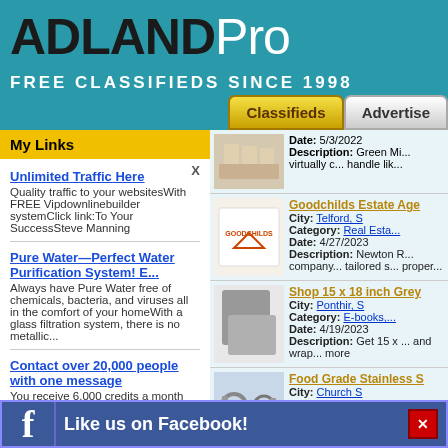ADLANDPro - FREE CLASSIFIEDS SINCE 1998
My Links
X
Unlimited Traffic Here - Quality traffic to your websitesWith FREE Vipdownlinebuilder systemClick link:To Your SuccessSteve Manning
Pure Water—Perfect Water Purification System! E... - Always have Pure Water free of chemicals, bacteria, and viruses all in the comfort of your homeWith a glass filtration system, there is no metallic...
Contact over 20,000 people with one message - You receive 6,000 credits a month for sending Direct Contacts. Targeting allows you to send personal
Date: 5/3/2022
Description: Green Mi... virtually c... handle lik...
Goodchilds Estate Age
City: Telford, S
Category: Real Esta...
Date: 4/27/2023
Description: Newton R... company... tailored s... proper...
Shop 15 x 18 inch Grey
City: Ponthir, S
Category: E-books,...
Date: 4/19/2023
Description: Get 15 x ... and wrap... more
Food Grade Stainless S
City: Church S
Category: Business...
Date: 4/19/2023
Description: As far as... no comp... this is in...
Like us on Facebook!